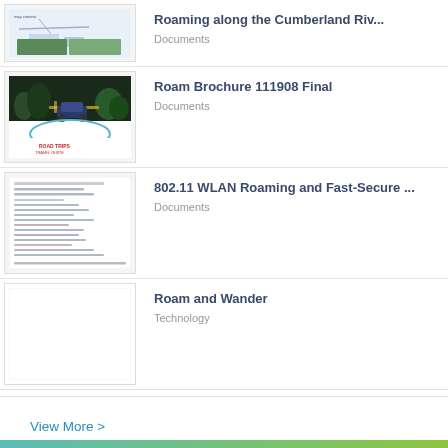[Figure (screenshot): Partial thumbnail of a document about Roaming along the Cumberland River]
Roaming along the Cumberland Riv...
Documents
[Figure (screenshot): Thumbnail of Roam Brochure 111908 Final document showing a car on a circular road design]
Roam Brochure 111908 Final
Documents
[Figure (screenshot): Thumbnail of 802.11 WLAN Roaming and Fast-Secure document showing text content]
802.11 WLAN Roaming and Fast-Secure ...
Documents
[Figure (screenshot): Blank white thumbnail for Roam and Wander]
Roam and Wander
Technology
View More >